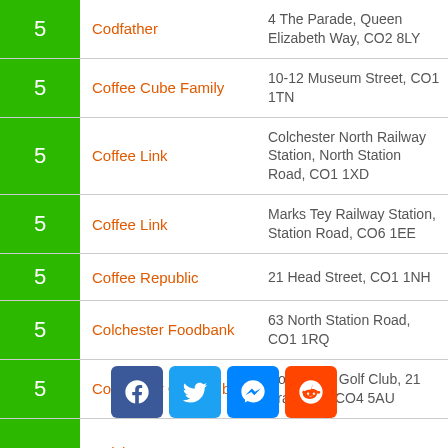| Rating | Name | Address |
| --- | --- | --- |
| 5 | Codfather | 4 The Parade, Queen Elizabeth Way, CO2 8LY |
| 5 | Coffee Cube Family | 10-12 Museum Street, CO1 1TN |
| 5 | Coffee Link | Colchester North Railway Station, North Station Road, CO1 1XD |
| 5 | Coffee Link | Marks Tey Railway Station, Station Road, CO6 1EE |
| 5 | Coffee Republic | 21 Head Street, CO1 1NH |
| 5 | Colchester Foodbank | 63 North Station Road, CO1 1RQ |
| 5 | Colchester Golf Club | Colchester Golf Club, 21 Braiswick, CO4 5AU |
| 5 | Colchester Highwoods Bowls Club | Highwoods, Boxted Road, CO2 7XB |